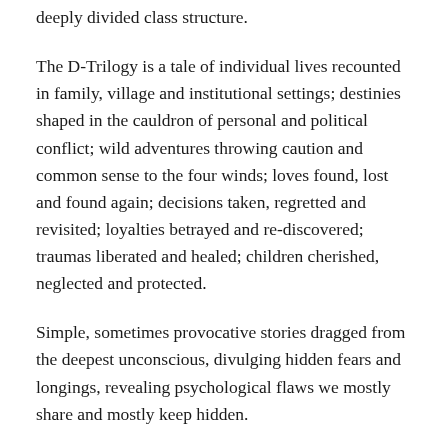deeply divided class structure.
The D-Trilogy is a tale of individual lives recounted in family, village and institutional settings; destinies shaped in the cauldron of personal and political conflict; wild adventures throwing caution and common sense to the four winds; loves found, lost and found again; decisions taken, regretted and revisited; loyalties betrayed and re-discovered; traumas liberated and healed; children cherished, neglected and protected.
Simple, sometimes provocative stories dragged from the deepest unconscious, divulging hidden fears and longings, revealing psychological flaws we mostly share and mostly keep hidden.
D-Trilogy as Case Study
Coupled with the fourth disc, the DVD box set opens the films to academic and vocational study in lecture